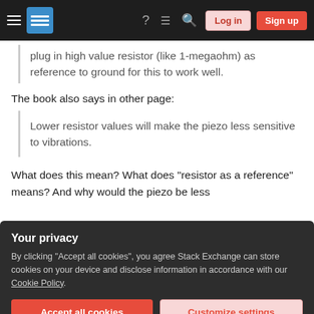Stack Exchange navigation bar with logo, help, chat, search, Log in, Sign up
plug in high value resistor (like 1-megaohm) as reference to ground for this to work well.
The book also says in other page:
Lower resistor values will make the piezo less sensitive to vibrations.
What does this mean? What does "resistor as a reference" means? And why would the piezo be less
Your privacy
By clicking "Accept all cookies", you agree Stack Exchange can store cookies on your device and disclose information in accordance with our Cookie Policy.
Accept all cookies   Customize settings